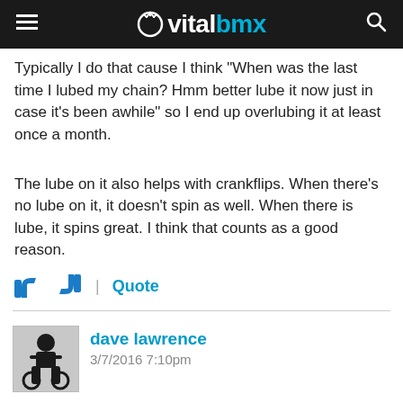vitalbmx
Typically I do that cause I think "When was the last time I lubed my chain? Hmm better lube it now just in case it's been awhile" so I end up overlubing it at least once a month.
The lube on it also helps with crankflips. When there's no lube on it, it doesn't spin as well. When there is lube, it spins great. I think that counts as a good reason.
Quote
dave lawrence
3/7/2016 7:10pm
grumpySteve wrote:
Over lubing a chain causes ...more